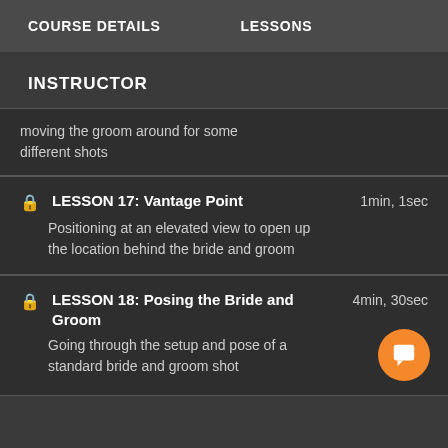COURSE DETAILS    LESSONS
INSTRUCTOR
moving the groom around for some different shots
LESSON 17: Vantage Point  1min, 1sec
Positioning at an elevated view to open up the location behind the bride and groom
LESSON 18: Posing the Bride and Groom  4min, 30sec
Going through the setup and pose of a standard bride and groom shot